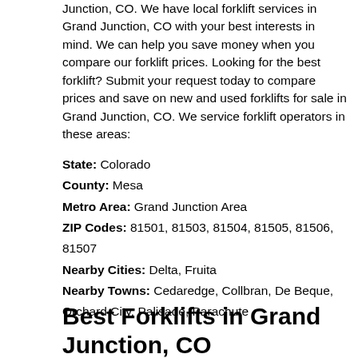Junction, CO. We have local forklift services in Grand Junction, CO with your best interests in mind. We can help you save money when you compare our forklift prices. Looking for the best forklift? Submit your request today to compare prices and save on new and used forklifts for sale in Grand Junction, CO. We service forklift operators in these areas:
State: Colorado
County: Mesa
Metro Area: Grand Junction Area
ZIP Codes: 81501, 81503, 81504, 81505, 81506, 81507
Nearby Cities: Delta, Fruita
Nearby Towns: Cedaredge, Collbran, De Beque, Orchard City, Palisade, Parachute
Best Forklifts in Grand Junction, CO